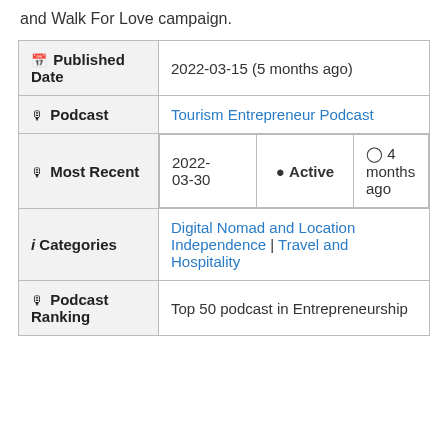and Walk For Love campaign.
| Field | Value |
| --- | --- |
| 📅 Published Date | 2022-03-15 (5 months ago) |
| 🎙 Podcast | Tourism Entrepreneur Podcast |
| 🎙 Most Recent | 2022-03-30 | 🔵 Active | ⏰ 4 months ago |
| ℹ Categories | Digital Nomad and Location Independence | Travel and Hospitality |
| 🎙 Podcast Ranking | Top 50 podcast in Entrepreneurship |